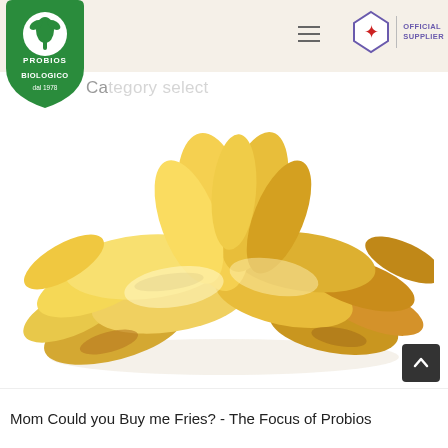[Figure (logo): Probios logo — green shield with white plant/figure icon, text PROBIOS at top, BIOLOGICO dal 1978 at bottom]
[Figure (logo): ACF Fiorentina official supplier badge — purple diamond with red fleur-de-lis, text OFFICIAL SUPPLIER]
Ca... ect
[Figure (photo): Pile of golden potato chips/crisps on white background]
Mom Could you Buy me Fries? - The Focus of Probios